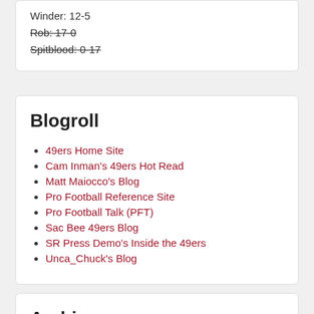Winder: 12-5
Rob: 17-0
Spitblood: 0-17
Blogroll
49ers Home Site
Cam Inman's 49ers Hot Read
Matt Maiocco's Blog
Pro Football Reference Site
Pro Football Talk (PFT)
Sac Bee 49ers Blog
SR Press Demo's Inside the 49ers
Unca_Chuck's Blog
Archives